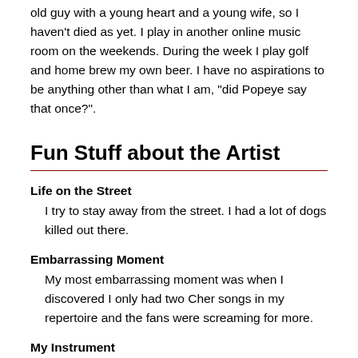old guy with a young heart and a young wife, so I haven't died as yet. I play in another online music room on the weekends. During the week I play golf and home brew my own beer. I have no aspirations to be anything other than what I am, "did Popeye say that once?".
Fun Stuff about the Artist
Life on the Street
I try to stay away from the street. I had a lot of dogs killed out there.
Embarrassing Moment
My most embarrassing moment was when I discovered I only had two Cher songs in my repertoire and the fans were screaming for more.
My Instrument
My main guitar is a 90's Tacoma acoustic. My first instrument was a hand-me-down flute from my sister. I wanted to play